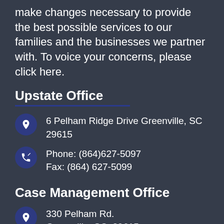make changes necessary to provide the best possible services to our families and the businesses we partner with. To voice your concerns, please click here.
Upstate Office
6 Pelham Ridge Drive Greenville, SC 29615
Phone: (864)627-5097
Fax: (864) 627-5099
Case Management Office
330 Pelham Rd.
Greenville, SC  29615
(864) 207-2299